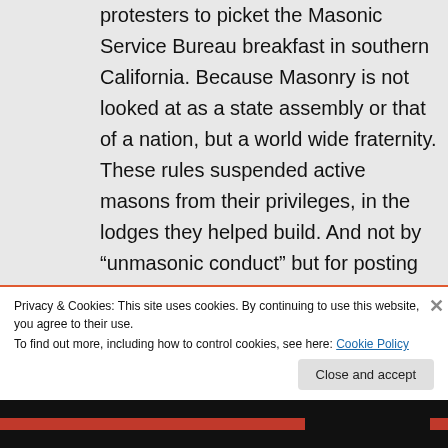protesters to picket the Masonic Service Bureau breakfast in southern California. Because Masonry is not looked at as a state assembly or that of a nation, but a world wide fraternity. These rules suspended active masons from their privileges, in the lodges they helped build. And not by “unmasonic conduct” but for posting pictures of their wedding. Shameful. A true black eye on the fraternity and by a group of CA fratbies pursuing
Privacy & Cookies: This site uses cookies. By continuing to use this website, you agree to their use.
To find out more, including how to control cookies, see here: Cookie Policy